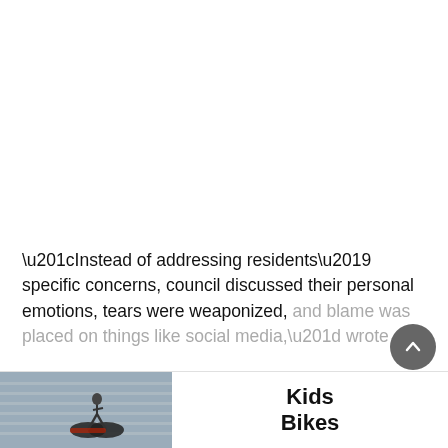“Instead of addressing residents’ specific concerns, council discussed their personal emotions, tears were weaponized, and blame was placed on things like social media,” wrote
Read More
[Figure (photo): Advertisement banner showing a child on a BMX bike with text 'Kids Bikes']